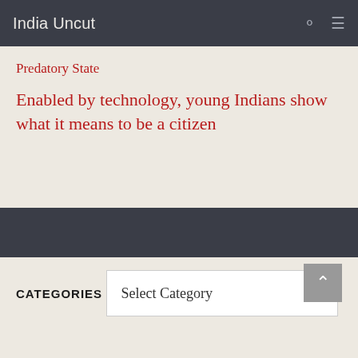India Uncut
Predatory State
Enabled by technology, young Indians show what it means to be a citizen
CATEGORIES